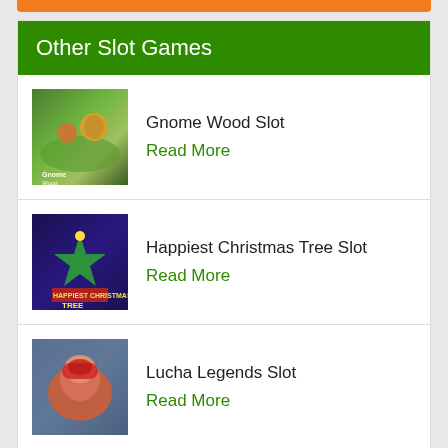Other Slot Games
Gnome Wood Slot
Read More
Happiest Christmas Tree Slot
Read More
Lucha Legends Slot
Read More